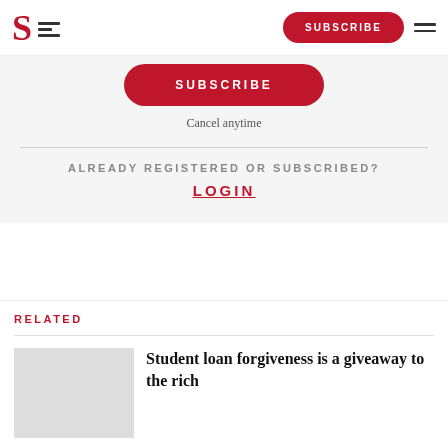S [logo] | SUBSCRIBE | [menu]
SUBSCRIBE
Cancel anytime
ALREADY REGISTERED OR SUBSCRIBED?
LOGIN
RELATED
Student loan forgiveness is a giveaway to the rich